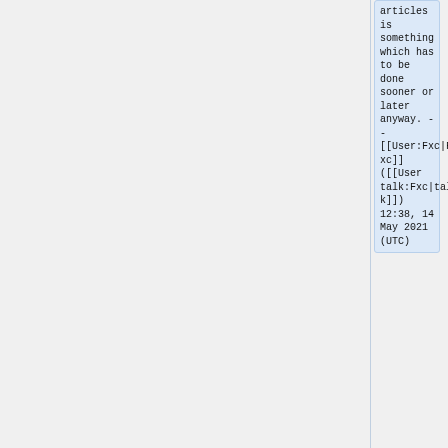articles is something which has to be done sooner or later anyway. -- [[User:Fxc|Fxc]] ([[User talk:Fxc|talk]]) 12:38, 14 May 2021 (UTC)
+
== Re: Your edits in PinePhone ==
+
Good day, Fxc! Thank